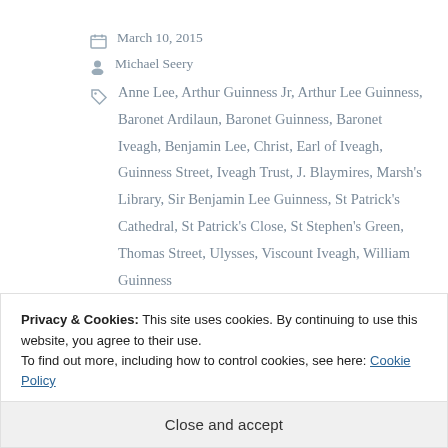March 10, 2015
Michael Seery
Anne Lee, Arthur Guinness Jr, Arthur Lee Guinness, Baronet Ardilaun, Baronet Guinness, Baronet Iveagh, Benjamin Lee, Christ, Earl of Iveagh, Guinness Street, Iveagh Trust, J. Blaymires, Marsh's Library, Sir Benjamin Lee Guinness, St Patrick's Cathedral, St Patrick's Close, St Stephen's Green, Thomas Street, Ulysses, Viscount Iveagh, William Guinness
Privacy & Cookies: This site uses cookies. By continuing to use this website, you agree to their use.
To find out more, including how to control cookies, see here: Cookie Policy
Close and accept